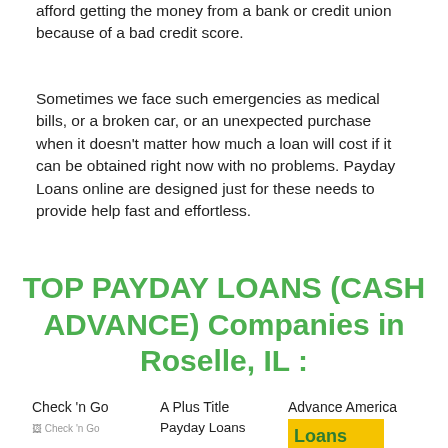afford getting the money from a bank or credit union because of a bad credit score.
Sometimes we face such emergencies as medical bills, or a broken car, or an unexpected purchase when it doesn't matter how much a loan will cost if it can be obtained right now with no problems. Payday Loans online are designed just for these needs to provide help fast and effortless.
TOP PAYDAY LOANS (CASH ADVANCE) Companies in Roselle, IL :
Check 'n Go
[Figure (logo): Check 'n Go logo placeholder image]
A Plus Title Payday Loans
Advance America
[Figure (logo): Advance America logo with yellow background showing 'Loans' text in green]